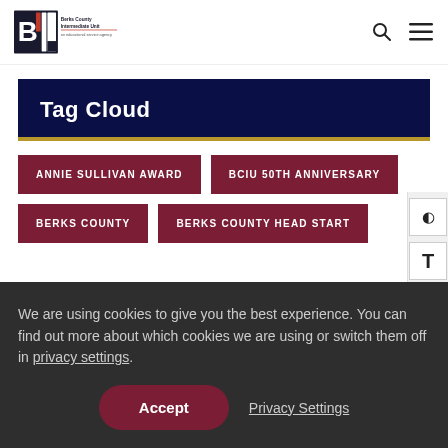BCIU — Berks County Intermediate Unit — an educational service agency
Tag Cloud
ANNIE SULLIVAN AWARD
BCIU 50TH ANNIVERSARY
BERKS COUNTY
BERKS COUNTY HEAD START
We are using cookies to give you the best experience. You can find out more about which cookies we are using or switch them off in privacy settings.
Accept
Privacy Settings